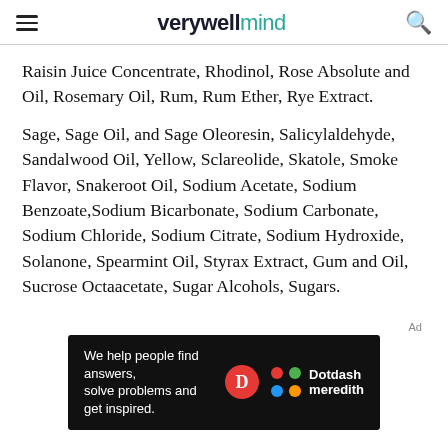verywell mind
Raisin Juice Concentrate, Rhodinol, Rose Absolute and Oil, Rosemary Oil, Rum, Rum Ether, Rye Extract.
Sage, Sage Oil, and Sage Oleoresin, Salicylaldehyde, Sandalwood Oil, Yellow, Sclareolide, Skatole, Smoke Flavor, Snakeroot Oil, Sodium Acetate, Sodium Benzoate,Sodium Bicarbonate, Sodium Carbonate, Sodium Chloride, Sodium Citrate, Sodium Hydroxide, Solanone, Spearmint Oil, Styrax Extract, Gum and Oil, Sucrose Octaacetate, Sugar Alcohols, Sugars.
[Figure (other): Advertisement banner: We help people find answers, solve problems and get inspired. Dotdash meredith logo.]